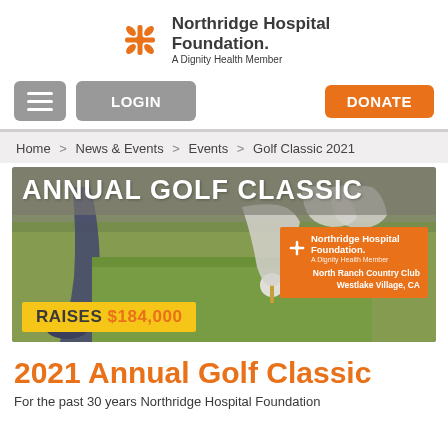[Figure (logo): Northridge Hospital Foundation logo with orange snowflake icon and text 'Northridge Hospital Foundation. A Dignity Health Member']
[Figure (screenshot): Navigation bar with hamburger menu button, LOGIN button (grey), and DONATE button (orange)]
Home > News & Events > Events > Golf Classic 2021
[Figure (photo): Annual Golf Classic banner image showing a golf club and ball on a tee on green grass. Text overlay: 'ANNUAL GOLF CLASSIC', Northridge Hospital Foundation logo with orange box, 'North Ranch Country Club Westlake Village, CA', yellow bar 'RAISES $184,000']
2021 Annual Golf Classic
For the past 30 years Northridge Hospital Foundation